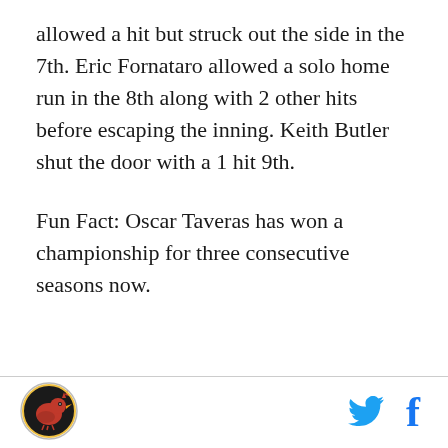allowed a hit but struck out the side in the 7th. Eric Fornataro allowed a solo home run in the 8th along with 2 other hits before escaping the inning. Keith Butler shut the door with a 1 hit 9th.
Fun Fact: Oscar Taveras has won a championship for three consecutive seasons now.
[Figure (logo): Round team logo with a cardinal bird in red and black on white background with circular border]
[Figure (logo): Twitter bird icon in blue]
[Figure (logo): Facebook f icon in blue]